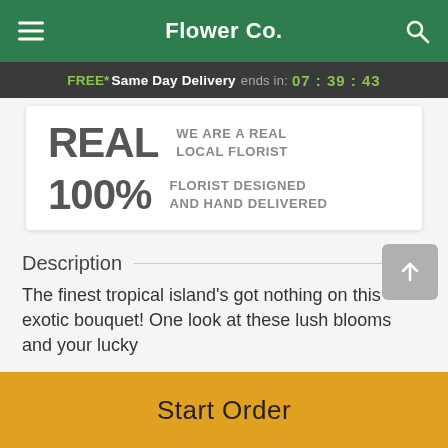Flower Co.
FREE* Same Day Delivery ends in: 07 : 39 : 43
REAL  WE ARE A REAL LOCAL FLORIST
100%  FLORIST DESIGNED AND HAND DELIVERED
Description
The finest tropical island's got nothing on this exotic bouquet! One look at these lush blooms and your lucky
Start Order